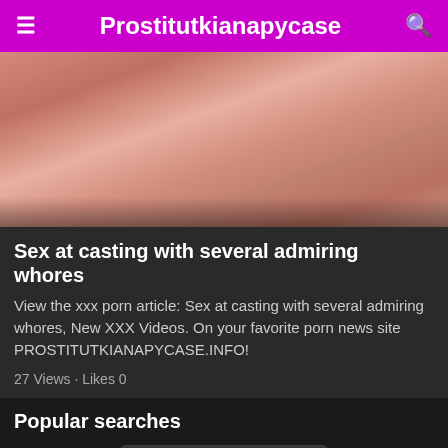Prostitutkianapycase
[Figure (photo): Explicit adult content thumbnail image with reddish/orange background]
Sex at casting with several admiring whores
View the xxx porn article: Sex at casting with several admiring whores, New XXX Videos. On your favorite porn news site PROSTITUTKIANAPYCASE.INFO!
27 Views · Likes 0
Popular searches
LESBIANS
Бесплатные Онлайн Порно ...
Free Porn Videos
Porn Xxx Videos
Free Porn Videos
PORN VIDEOS
Free Porn